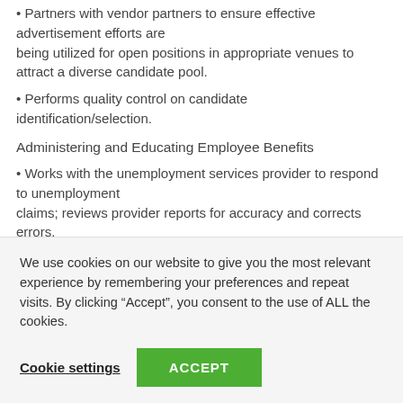• Partners with vendor partners to ensure effective advertisement efforts are being utilized for open positions in appropriate venues to attract a diverse candidate pool.
• Performs quality control on candidate identification/selection.
Administering and Educating Employee Benefits
• Works with the unemployment services provider to respond to unemployment claims; reviews provider reports for accuracy and corrects errors.
• Prepares| audits and distributes unemployment claim activity reports to property management.
• Attends unemployment hearings and ensures property is properly represented.
We use cookies on our website to give you the most relevant experience by remembering your preferences and repeat visits. By clicking “Accept”, you consent to the use of ALL the cookies.
Cookie settings   ACCEPT